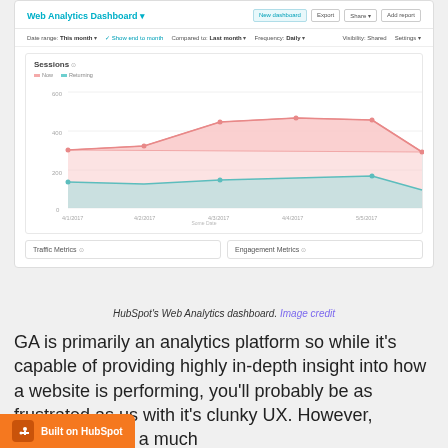[Figure (screenshot): HubSpot Web Analytics Dashboard screenshot showing a Sessions area chart with two series (Now and Returning) over dates from 4/1/2017 to 5/5/2017, plus Traffic Metrics and Engagement Metrics cards below.]
HubSpot's Web Analytics dashboard. Image credit
GA is primarily an analytics platform so while it's capable of providing highly in-depth insight into how a website is performing, you'll probably be as frustrated as us with it's clunky UX. However, HubSpot offers a much